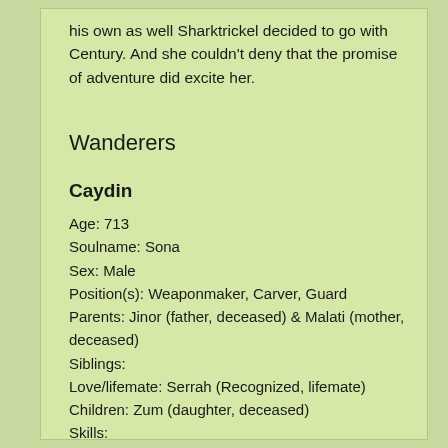his own as well Sharktrickel decided to go with Century. And she couldn't deny that the promise of adventure did excite her.
Wanderers
Caydin
Age: 713
Soulname: Sona
Sex: Male
Position(s): Weaponmaker, Carver, Guard
Parents: Jinor (father, deceased) & Malati (mother, deceased)
Siblings:
Love/lifemate: Serrah (Recognized, lifemate)
Children: Zum (daughter, deceased)
Skills:
Crafting - Weapons, Tools, Carvings (wood/bone)
Hunting - Scouting